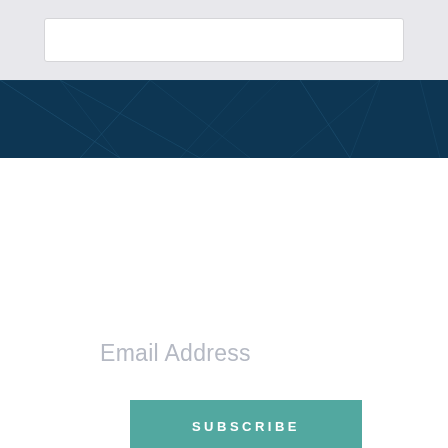[Figure (screenshot): Top bar with light grey background and a white input field]
[Figure (illustration): Dark navy blue banner with geometric polygon pattern background and an orange/red paper airplane icon flying with a dashed trail]
Email Address
[Figure (other): Teal/green SUBSCRIBE button]